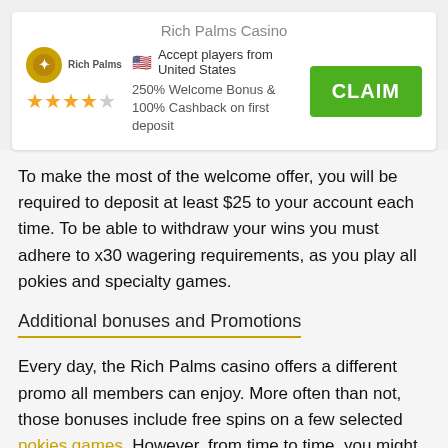Rich Palms Casino
Accept players from United States
250% Welcome Bonus & 100% Cashback on first deposit
To make the most of the welcome offer, you will be required to deposit at least $25 to your account each time. To be able to withdraw your wins you must adhere to x30 wagering requirements, as you play all pokies and specialty games.
Additional bonuses and Promotions
Every day, the Rich Palms casino offers a different promo all members can enjoy. More often than not, those bonuses include free spins on a few selected pokies games. However, from time to time, you might be able to have fun with no deposit bonuses, match prizes, and more.
But that's not all! The casino has a VIP program